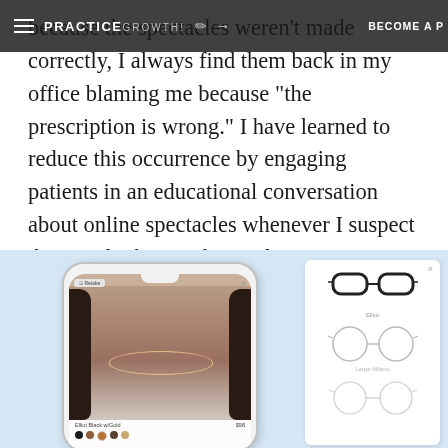PRACTICE GROWTH! BECOME A P
because the spectacles weren't made correctly, I always find them back in my office blaming me because "the prescription is wrong." I have learned to reduce this occurrence by engaging patients in an educational conversation about online spectacles whenever I suspect they are looking to buy online.
[Figure (photo): Screenshot of an eyewear virtual try-on app on a smartphone. The phone shows a woman's face with glasses overlaid. To the right is a panel showing three different eyeglass frame styles: a browline frame labeled 'Elliot', large round frames labeled 'Large Milano', and round thin frames. Below the phone image is a label 'Elliot Black w/Gold' with price '$98' and color swatch dots.]